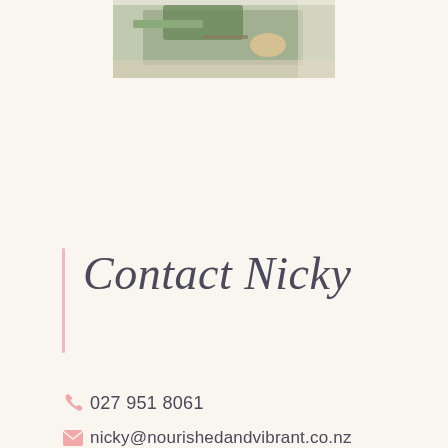[Figure (photo): Partial photo of food/vegetables on a cutting board, cropped at top of page]
Contact Nicky
027 951 8061
nicky@nourishedandvibrant.co.nz
North Shore, Auckland, NZ